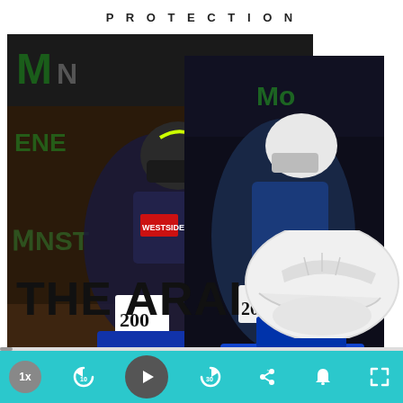PROTECTION
[Figure (photo): Motocross racer on a dirt bike (number 200) leaning into a turn, wearing a helmet and racing gear. Monster Energy banners in background. Two overlapping photos creating a collage effect.]
THE ARAI
[Figure (photo): White Arai motocross helmet shown in profile view.]
[Figure (screenshot): Video player controls bar with teal background. Shows: 1x speed, rewind 10s, play button, skip 30s, share, notification bell, and fullscreen icons.]